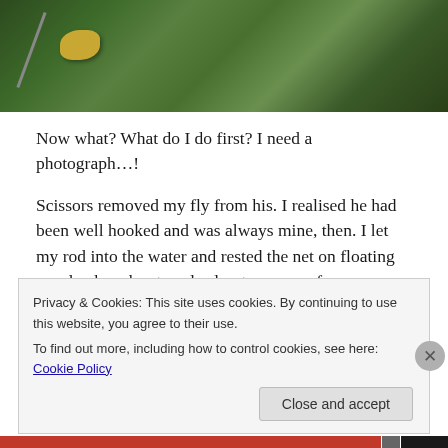[Figure (photo): Partial photo at top of page showing green foliage/plant material with what appears to be fishing equipment including a brass fitting and rod/line]
Now what? What do I do first? I need a photograph…!
Scissors removed my fly from his. I realised he had been well hooked and was always mine, then. I let my rod into the water and rested the net on floating weed, where he stayed calm, to recover from exertions enough to enable me to take a few pictures.
Now it was my turn to honour him. Lifting him reverently, I
Privacy & Cookies: This site uses cookies. By continuing to use this website, you agree to their use.
To find out more, including how to control cookies, see here: Cookie Policy